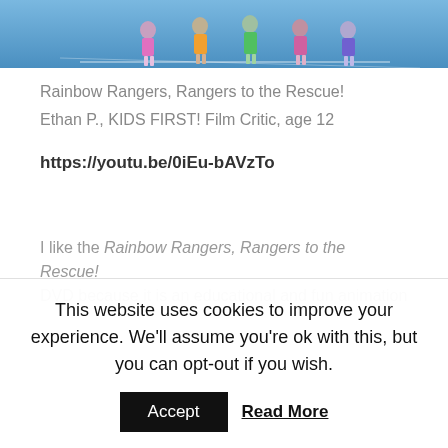[Figure (photo): Top portion of an image showing animated characters (Rainbow Rangers) on a blue background, partially cropped at top of page]
Rainbow Rangers, Rangers to the Rescue!
Ethan P., KIDS FIRST! Film Critic, age 12
https://youtu.be/0iEu-bAVzTo
I like the Rainbow Rangers, Rangers to the Rescue! DVD because it is an educational and fun animation
This website uses cookies to improve your experience. We'll assume you're ok with this, but you can opt-out if you wish.
Accept    Read More